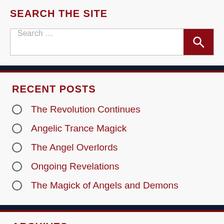SEARCH THE SITE
Search …
RECENT POSTS
The Revolution Continues
Angelic Trance Magick
The Angel Overlords
Ongoing Revelations
The Magick of Angels and Demons
ARCHIVES